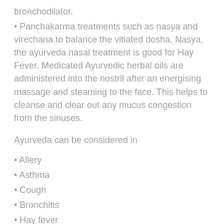bronchodilator.
Panchakarma treatments such as nasya and virechana to balance the vitiated dosha. Nasya, the ayurveda nasal treatment is good for Hay Fever. Medicated Ayurvedic herbal oils are administered into the nostril after an energising massage and steaming to the face. This helps to cleanse and clear out any mucus congestion from the sinuses.
Ayurveda can be considered in
Allery
Asthma
Cough
Bronchitis
Hay fever